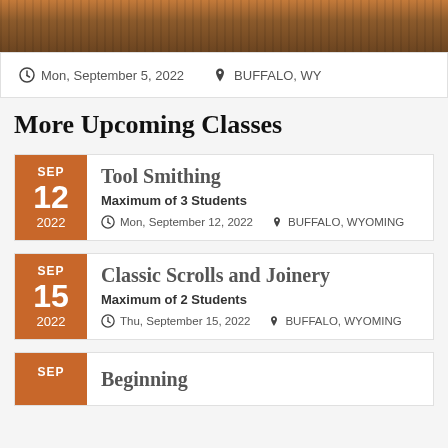[Figure (photo): Close-up photo of blacksmithing tools or metalwork, warm brown/orange tones]
Mon, September 5, 2022   BUFFALO, WY
More Upcoming Classes
Tool Smithing
Maximum of 3 Students
Mon, September 12, 2022   BUFFALO, WYOMING
Classic Scrolls and Joinery
Maximum of 2 Students
Thu, September 15, 2022   BUFFALO, WYOMING
Beginning